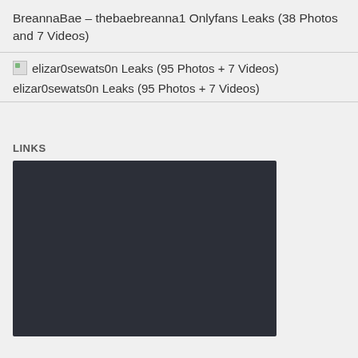BreannaBae – thebaebreanna1 Onlyfans Leaks (38 Photos and 7 Videos)
elizar0sewats0n Leaks (95 Photos + 7 Videos)
elizar0sewats0n Leaks (95 Photos + 7 Videos)
LINKS
[Figure (screenshot): Dark background panel/embedded media widget]